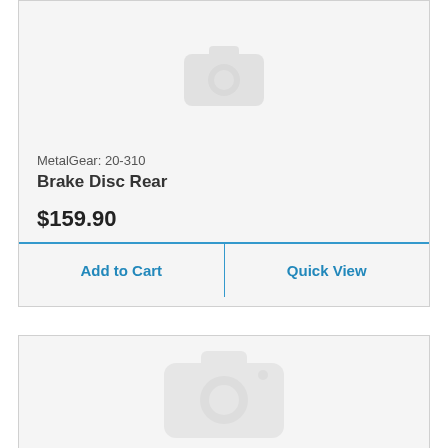[Figure (photo): Product image placeholder with camera icon - top card (partially visible at top)]
MetalGear: 20-310
Brake Disc Rear
$159.90
Add to Cart
Quick View
[Figure (photo): Product image placeholder with camera icon - bottom card]